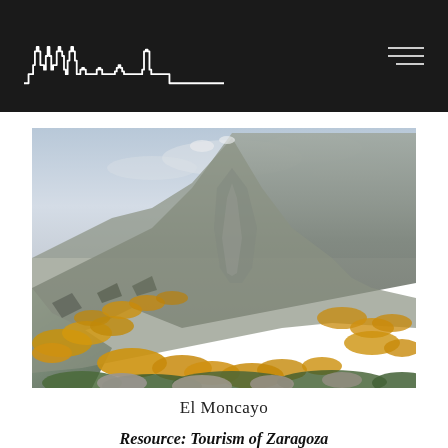Skyline logo and navigation
[Figure (photo): Mountain valley photograph showing El Moncayo with rocky slopes, yellow flowering shrubs covering the hillsides, green vegetation at the bottom, rocky terrain in the foreground, and an overcast sky above.]
El Moncayo
Resource: Tourism of Zaragoza